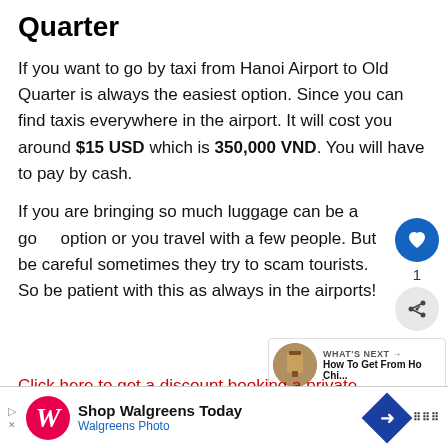Quarter
If you want to go by taxi from Hanoi Airport to Old Quarter is always the easiest option. Since you can find taxis everywhere in the airport. It will cost you around $15 USD which is 350,000 VND. You will have to pay by cash.
If you are bringing so much luggage can be a good option or you travel with a few people. But be careful sometimes they try to scam tourists. So be patient with this as always in the airports!
Click here to get a discount booking a private transfer from Hanoi Airport to city with Klook!